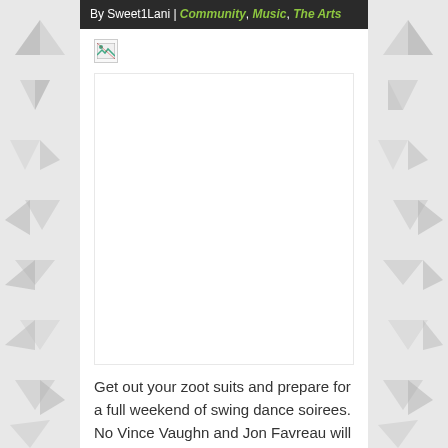By Sweet1Lani | Community, Music, The Arts
[Figure (photo): Broken/missing image placeholder in article about swing dancing]
Get out your zoot suits and prepare for a full weekend of swing dance soirees. No Vince Vaughn and Jon Favreau will not be in attendance, but “Swingers”-mania is still going strong. PittStop is hosting the 13th